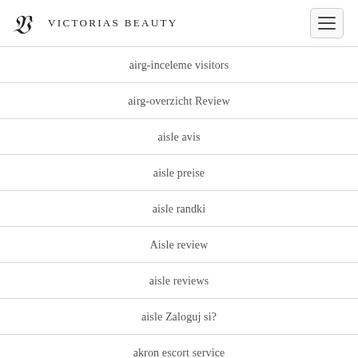Victorias Beauty
airg-inceleme visitors
airg-overzicht Review
aisle avis
aisle preise
aisle randki
Aisle review
aisle reviews
aisle Zaloguj si?
akron escort service